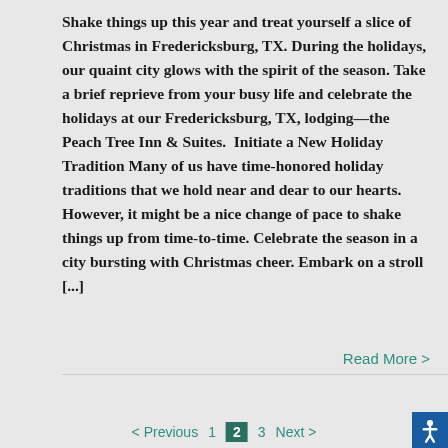Shake things up this year and treat yourself a slice of Christmas in Fredericksburg, TX. During the holidays, our quaint city glows with the spirit of the season. Take a brief reprieve from your busy life and celebrate the holidays at our Fredericksburg, TX, lodging—the Peach Tree Inn & Suites.  Initiate a New Holiday Tradition Many of us have time-honored holiday traditions that we hold near and dear to our hearts. However, it might be a nice change of pace to shake things up from time-to-time. Celebrate the season in a city bursting with Christmas cheer. Embark on a stroll [...]
Read More >
< Previous   1   2   3   Next >